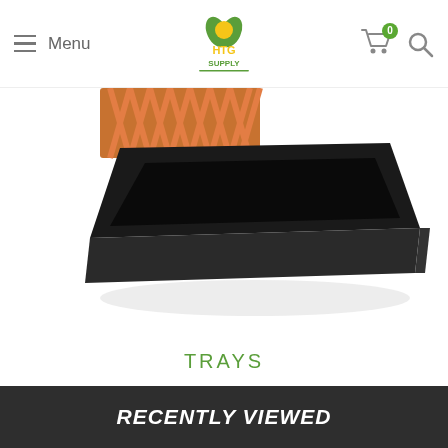Menu | HTG Supply | Cart (0) | Search
[Figure (photo): A black rectangular plastic grow tray, photographed at an angle showing the tray's flat interior and raised edges. Orange decorative lattice pattern visible in the background upper left.]
TRAYS
RECENTLY VIEWED PRODUCTS